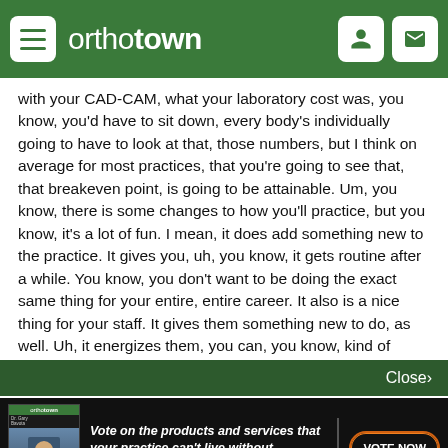orthotown
with your CAD-CAM, what your laboratory cost was, you know, you'd have to sit down, every body's individually going to have to look at that, those numbers, but I think on average for most practices, that you're going to see that, that breakeven point, is going to be attainable. Um, you know, there is some changes to how you'll practice, but you know, it's a lot of fun. I mean, it does add something new to the practice. It gives you, uh, you know, it gets routine after a while. You know, you don't want to be doing the exact same thing for your entire, entire career. It also is a nice thing for your staff. It gives them something new to do, as well. Uh, it energizes them, you can, you know, kind of
[Figure (screenshot): Advertisement banner for orthotown magazine: Vote on the products and services that your practice can't live without—win $100 gift cards and more! VOTE NOW]